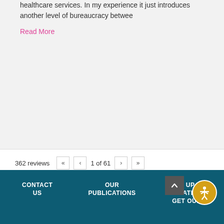healthcare services. In my experience it just introduces another level of bureaucracy betwee
Read More
362 reviews  «  ‹  1 of 61  ›  »
CONTACT US   OUR PUBLICATIONS   STAY UP TO DATE  GET OUR